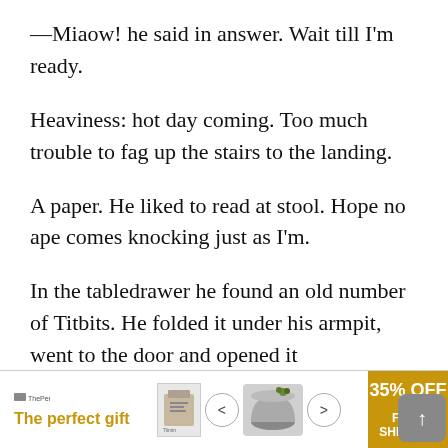—Miaow! he said in answer. Wait till I'm ready.
Heaviness: hot day coming. Too much trouble to fag up the stairs to the landing.
A paper. He liked to read at stool. Hope no ape comes knocking just as I'm.
In the tabledrawer he found an old number of Titbits. He folded it under his armpit, went to the door and opened it
[Figure (infographic): Advertisement banner: 'The perfect gift' with product images, navigation arrows, and '35% OFF + FREE SHIPPING' badge in gold.]